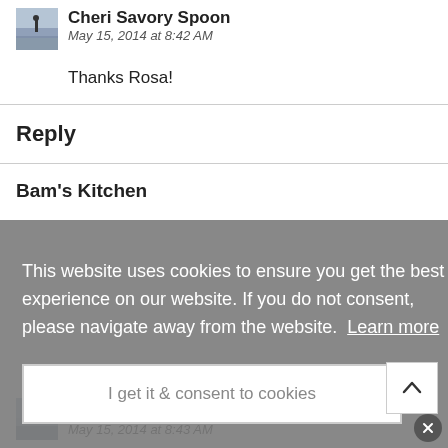[Figure (photo): Small avatar thumbnail of a person on a beach]
Cheri Savory Spoon
May 15, 2014 at 8:42 AM
Thanks Rosa!
Reply
Bam's Kitchen
This website uses cookies to ensure you get the best experience on our website. If you do not consent, please navigate away from the website.  Learn more
I get it & consent to cookies
[Figure (photo): Small avatar thumbnail of a person on a beach]
Cheri Savory Spoon
May 15, 2014 at 8:43 AM